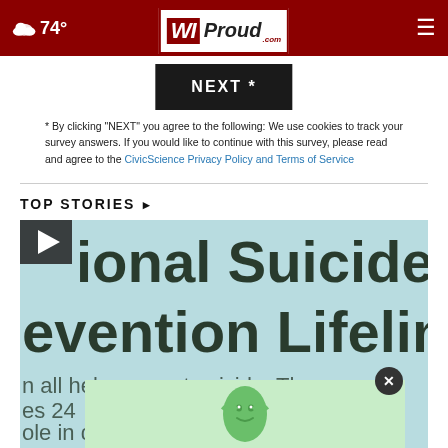74° | WIProud.com
NEXT *
* By clicking "NEXT" you agree to the following: We use cookies to track your survey answers. If you would like to continue with this survey, please read and agree to the CivicScience Privacy Policy and Terms of Service
TOP STORIES ▸
[Figure (photo): Close-up photo of a sign reading 'National Suicide Prevention Lifeline' with partial text visible, large dark letters on light blue/teal background. Lower portion shows partial text 'all help prevent suicid...' and 'es 24' and 'ple in dis...']
[Figure (infographic): Advertisement banner: 'It's not too late to take charge of your retirement. Get your top 3 tips →' with Ad Council and AARP logos, green background with cartoon character]